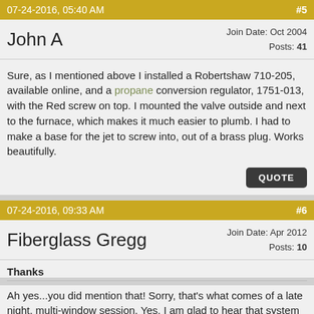07-24-2016, 05:40 AM  #5
John A
Join Date: Oct 2004
Posts: 41
Sure, as I mentioned above I installed a Robertshaw 710-205, available online, and a propane conversion regulator, 1751-013, with the Red screw on top. I mounted the valve outside and next to the furnace, which makes it much easier to plumb. I had to make a base for the jet to screw into, out of a brass plug. Works beautifully.
QUOTE
07-24-2016, 09:33 AM  #6
Fiberglass Gregg
Join Date: Apr 2012
Posts: 10
Thanks
Ah yes...you did mention that! Sorry, that's what comes of a late night, multi-window session. Yes, I am glad to hear that system worked! I will do something very similar, but I will use the millivolt system with the wall mount controls. So you would have had to replace the pilot light too with a thermopile/new pilot light, right? Any problems fitth